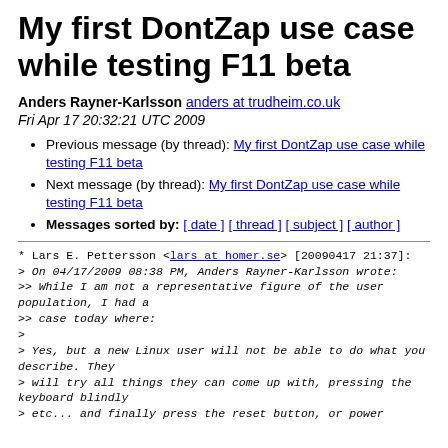My first DontZap use case while testing F11 beta
Anders Rayner-Karlsson anders at trudheim.co.uk
Fri Apr 17 20:32:21 UTC 2009
Previous message (by thread): My first DontZap use case while testing F11 beta
Next message (by thread): My first DontZap use case while testing F11 beta
Messages sorted by: [ date ] [ thread ] [ subject ] [ author ]
* Lars E. Pettersson <lars at homer.se> [20090417 21:37]:
> On 04/17/2009 08:38 PM, Anders Rayner-Karlsson wrote:
>> While I am not a representative figure of the user population, I had a
>> case today where:
>
> Yes, but a new Linux user will not be able to do what you describe. They
> will try all things they can come up with, pressing the keyboard blindly
> etc... and finally press the reset button, or power